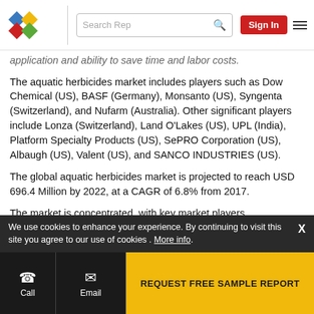[Figure (logo): Colorful diamond/rhombus logo with blue, red, yellow, green shapes]
application and ability to save time and labor costs.
The aquatic herbicides market includes players such as Dow Chemical (US), BASF (Germany), Monsanto (US), Syngenta (Switzerland), and Nufarm (Australia). Other significant players include Lonza (Switzerland), Land O'Lakes (US), UPL (India), Platform Specialty Products (US), SePRO Corporation (US), Albaugh (US), Valent (US), and SANCO INDUSTRIES (US).
The global aquatic herbicides market is projected to reach USD 696.4 Million by 2022, at a CAGR of 6.8% from 2017.
The market is concentrated, with key market players
We use cookies to enhance your experience. By continuing to visit this site you agree to our use of cookies . More info.
REQUEST FREE SAMPLE REPORT